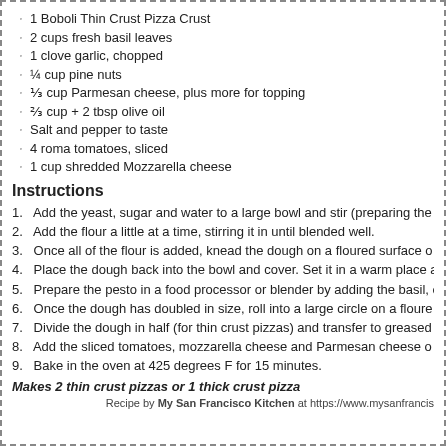1 Boboli Thin Crust Pizza Crust
2 cups fresh basil leaves
1 clove garlic, chopped
¼ cup pine nuts
⅓ cup Parmesan cheese, plus more for topping
⅔ cup + 2 tbsp olive oil
Salt and pepper to taste
4 roma tomatoes, sliced
1 cup shredded Mozzarella cheese
Instructions
1. Add the yeast, sugar and water to a large bowl and stir (preparing the much easier!). Let rest 5 minutes until the yeast is foamy, then add the
2. Add the flour a little at a time, stirring it in until blended well.
3. Once all of the flour is added, knead the dough on a floured surface o
4. Place the dough back into the bowl and cover. Set it in a warm place a
5. Prepare the pesto in a food processor or blender by adding the basil, olive oil. Blend until smooth.
6. Once the dough has doubled in size, roll into a large circle on a floure
7. Divide the dough in half (for thin crust pizzas) and transfer to greased
8. Add the sliced tomatoes, mozzarella cheese and Parmesan cheese o
9. Bake in the oven at 425 degrees F for 15 minutes.
Makes 2 thin crust pizzas or 1 thick crust pizza
Recipe by My San Francisco Kitchen at https://www.mysanfrancis